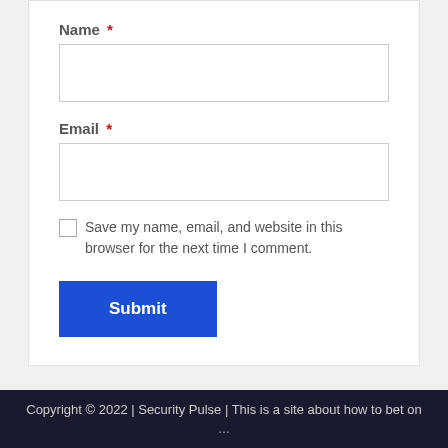Name *
Email *
Save my name, email, and website in this browser for the next time I comment.
Submit
Copyright © 2022 | Security Pulse | This is a site about how to bet on